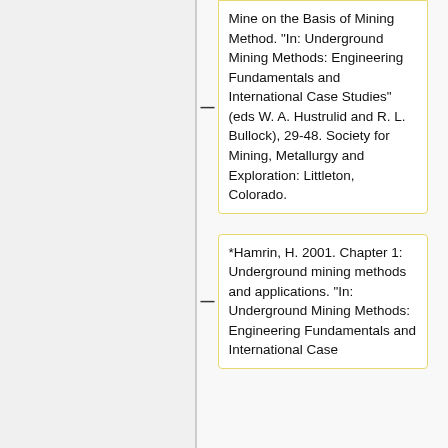Mine on the Basis of Mining Method. "In: Underground Mining Methods: Engineering Fundamentals and International Case Studies" (eds W. A. Hustrulid and R. L. Bullock), 29-48. Society for Mining, Metallurgy and Exploration: Littleton, Colorado.
*Hamrin, H. 2001. Chapter 1: Underground mining methods and applications. "In: Underground Mining Methods: Engineering Fundamentals and International Case